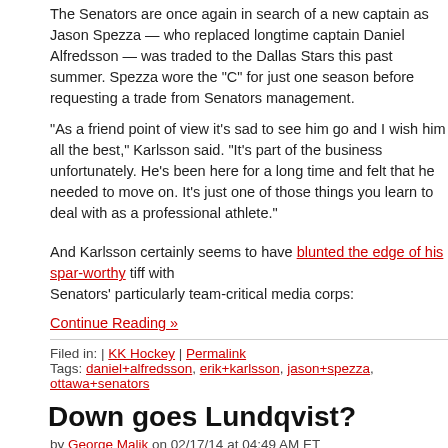The Senators are once again in search of a new captain as Jason Spezza — who replaced longtime captain Daniel Alfredsson — was traded to the Dallas Stars this past summer. Spezza wore the "C" for just one season before requesting a trade from Senators management.
"As a friend point of view it's sad to see him go and I wish him all the best," Karlsson said. "It's part of the business unfortunately. He's been here for a long time and felt that he needed to move on. It's just one of those things you learn to deal with as a professional athlete."
And Karlsson certainly seems to have blunted the edge of his spar-worthy tiff with Senators' particularly team-critical media corps:
Continue Reading »
Filed in: | KK Hockey | Permalink
Tags: daniel+alfredsson, erik+karlsson, jason+spezza, ottawa+senators
Down goes Lundqvist?
by George Malik on 02/17/14 at 04:49 AM ET
Comments (0)
The Free Press's Helene St. James, writing for USA Today, reports that Team Swe suffered from a friendly fire incident at today's pratcice: